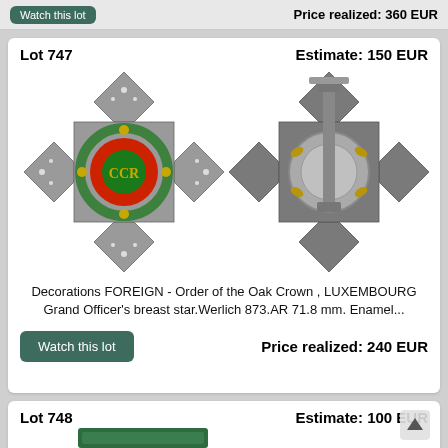Price realized: 360 EUR
Lot 747   Estimate: 150 EUR
[Figure (photo): Front and back views of a Luxembourg Order of the Oak Crown Grand Officer's breast star medal. Front shows silver Maltese cross with diamond-set points, central red enamel disc with green wreath and gold crown cypher. Back shows the reverse with pin mounting mechanism.]
Decorations FOREIGN - Order of the Oak Crown , LUXEMBOURG Grand Officer's breast star.Werlich 873.AR 71.8 mm. Enamel...
Price realized: 240 EUR
Lot 748   Estimate: 100 EUR
[Figure (photo): Partial view of a green case or box for Lot 748.]